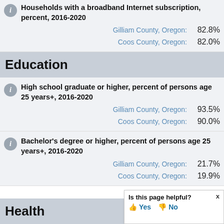Households with a broadband Internet subscription, percent, 2016-2020
Gilliam County, Oregon: 82.8%
Coos County, Oregon: 82.0%
Education
High school graduate or higher, percent of persons age 25 years+, 2016-2020
Gilliam County, Oregon: 93.5%
Coos County, Oregon: 90.0%
Bachelor's degree or higher, percent of persons age 25 years+, 2016-2020
Gilliam County, Oregon: 21.7%
Coos County, Oregon: 19.9%
Health
Is this page helpful? Yes No